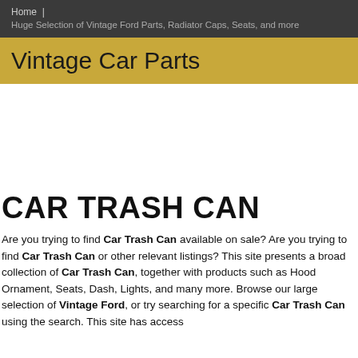Home | Huge Selection of Vintage Ford Parts, Radiator Caps, Seats, and more
Vintage Car Parts
CAR TRASH CAN
Are you trying to find Car Trash Can available on sale? Are you trying to find Car Trash Can or other relevant listings? This site presents a broad collection of Car Trash Can, together with products such as Hood Ornament, Seats, Dash, Lights, and many more. Browse our large selection of Vintage Ford, or try searching for a specific Car Trash Can using the search. This site has access